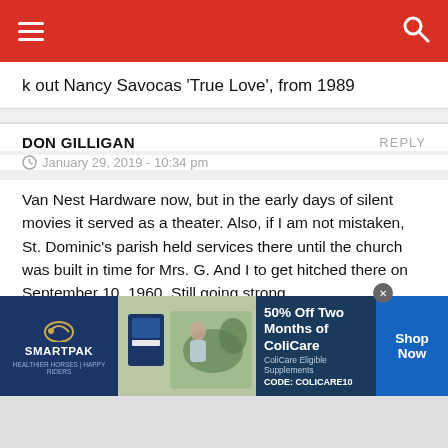Navigation bar with hamburger menu and search icon
k out Nancy Savocas ‘True Love’, from 1989
DON GILLIGAN
January 29, 2019 - 10:34 pm
Van Nest Hardware now, but in the early days of silent movies it served as a theater. Also, if I am not mistaken, St. Dominic’s parish held services there until the church was built in time for Mrs. G. And I to get hitched there on September 10, 1960. Still going strong.
DON GILLIGAN
January 29, 2019 - 10:56 pm
[Figure (screenshot): SmartPak advertisement banner: 50% Off Two Months of ColiCare, ColiCare Eligible Supplements, CODE: COLICARE10, Shop Now button]